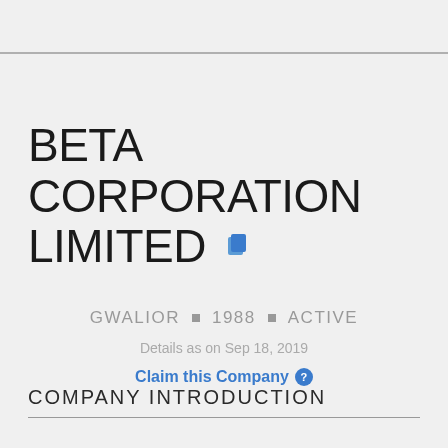BETA CORPORATION LIMITED
GWALIOR ■ 1988 ■ ACTIVE
Details as on Sep 18, 2019
Claim this Company
COMPANY INTRODUCTION